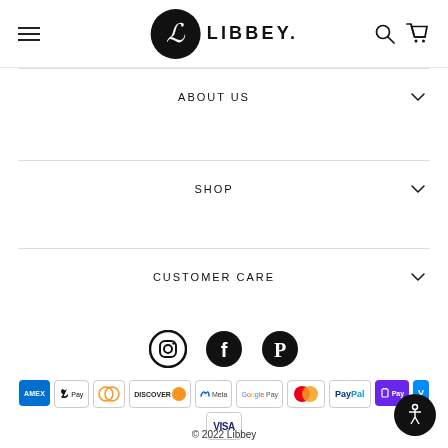[Figure (logo): Libbey brand logo with circular L monogram and LIBBEY. wordmark]
ABOUT US
SHOP
CUSTOMER CARE
[Figure (infographic): Social media icons: Instagram, Facebook, Pinterest]
[Figure (infographic): Payment method badges: American Express, Apple Pay, Diners Club, Discover, Meta Pay, Google Pay, Mastercard, PayPal, Shop Pay, Venmo, Visa]
© 2022 Libbey